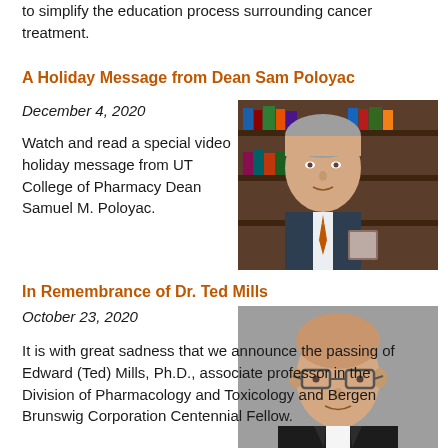to simplify the education process surrounding cancer treatment.
A Holiday Message from Dean Sam Poloyac
December 4, 2020
[Figure (photo): Portrait photo of Dean Samuel M. Poloyac, a middle-aged man with gray hair wearing a suit with an orange tie, seated in front of bookshelves.]
Watch and read a special video holiday message from UT College of Pharmacy Dean Samuel M. Poloyac.
In Remembrance of Dr. Ted Mills
October 23, 2020
[Figure (photo): Portrait photo of Dr. Ted Mills, a bald man wearing glasses and a dark suit with white shirt, against a gray background.]
It is with great sadness that we announce the passing of Edward (Ted) Mills, Ph.D., associate professor in the Division of Pharmacology and Toxicology and Bergen Brunswig Corporation Centennial Fellow.